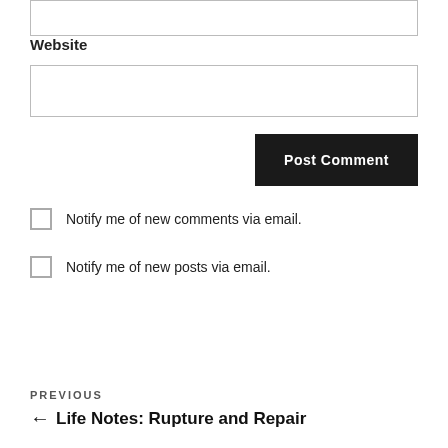Website
Post Comment
Notify me of new comments via email.
Notify me of new posts via email.
PREVIOUS
← Life Notes: Rupture and Repair